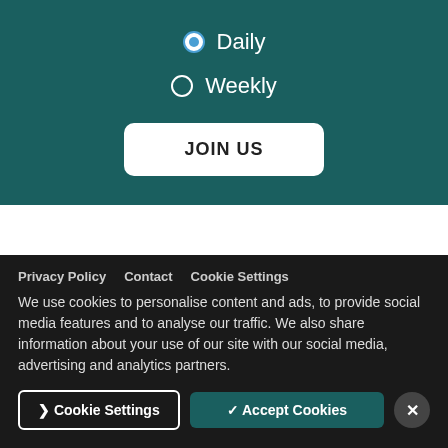Daily (selected)
Weekly
JOIN US
[Figure (logo): United Against Nuclear Iran logo — stacked text reading UNITED / AGAINST / NUCLEAR / IRAN in bold black letters]
Privacy Policy   Contact   Cookie Settings
We use cookies to personalise content and ads, to provide social media features and to analyse our traffic. We also share information about your use of our site with our social media, advertising and analytics partners.
[Cookie Settings]   ✓ Accept Cookies   ×